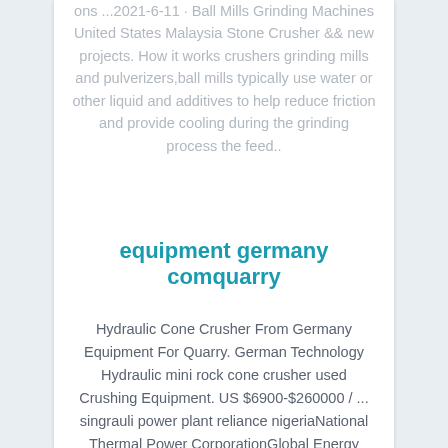ons ...2021-6-11 · Ball Mills Grinding Machines United States Malaysia Stone Crusher && new projects. How it works crushers grinding mills and pulverizers,ball mills typically use water or other liquid and additives to help reduce friction and provide cooling during the grinding process the feed..
equipment germany comquarry
Hydraulic Cone Crusher From Germany Equipment For Quarry. German Technology Hydraulic mini rock cone crusher used Crushing Equipment. US $6900-$260000 / ... singrauli power plant reliance nigeriaNational Thermal Power CorporationGlobal Energy Monitor. 2021-6-13 · The plant would involve the government acquiring 2000 acres of farm land to install the plant under a Memorandum of